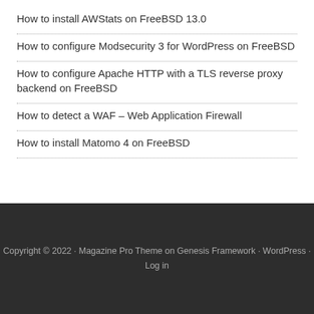How to install AWStats on FreeBSD 13.0
How to configure Modsecurity 3 for WordPress on FreeBSD
How to configure Apache HTTP with a TLS reverse proxy backend on FreeBSD
How to detect a WAF – Web Application Firewall
How to install Matomo 4 on FreeBSD
Copyright © 2022 · Magazine Pro Theme on Genesis Framework · WordPress · Log in